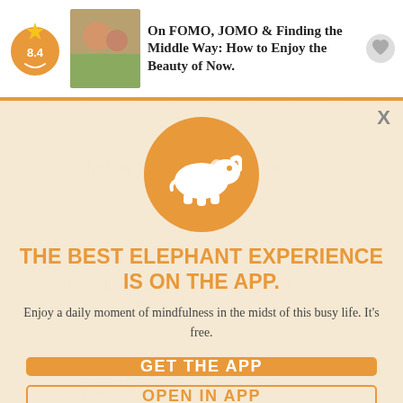On FOMO, JOMO & Finding the Middle Way: How to Enjoy the Beauty of Now.
[Figure (logo): Elephant Journal app icon with white elephant on orange circle and star badge showing 8.4 rating]
THE BEST ELEPHANT EXPERIENCE IS ON THE APP.
Enjoy a daily moment of mindfulness in the midst of this busy life. It's free.
GET THE APP
OPEN IN APP